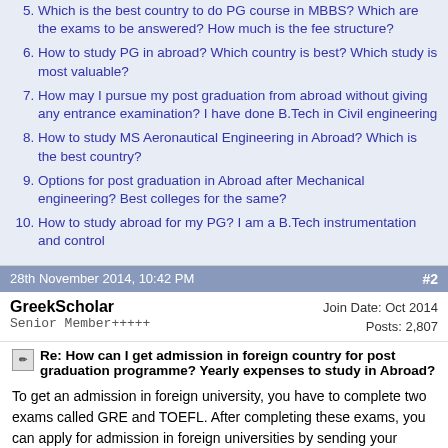5. Which is the best country to do PG course in MBBS? Which are the exams to be answered? How much is the fee structure?
6. How to study PG in abroad? Which country is best? Which study is most valuable?
7. How may I pursue my post graduation from abroad without giving any entrance examination? I have done B.Tech in Civil engineering
8. How to study MS Aeronautical Engineering in Abroad? Which is the best country?
9. Options for post graduation in Abroad after Mechanical engineering? Best colleges for the same?
10. How to study abroad for my PG? I am a B.Tech instrumentation and control
28th November 2014, 10:42 PM   #2
GreekScholar
Senior Member+++++
Join Date: Oct 2014
Posts: 2,807
Re: How can I get admission in foreign country for post graduation programme? Yearly expenses to study in Abroad?
To get an admission in foreign university, you have to complete two exams called GRE and TOEFL. After completing these exams, you can apply for admission in foreign universities by sending your Application form and your exam scores. Then the universities will verify your profile and offer admission, if your are eligible as per university admission requirements.